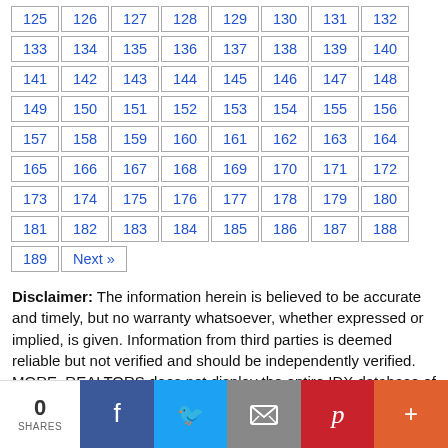125 126 127 128 129 130 131 132 133 134 135 136 137 138 139 140 141 142 143 144 145 146 147 148 149 150 151 152 153 154 155 156 157 158 159 160 161 162 163 164 165 166 167 168 169 170 171 172 173 174 175 176 177 178 179 180 181 182 183 184 185 186 187 188 189 Next »
Disclaimer: The information herein is believed to be accurate and timely, but no warranty whatsoever, whether expressed or implied, is given. Information from third parties is deemed reliable but not verified and should be independently verified. MORE, REALTORS does not display the entire IDX database of Mid America Regional Information Systems, Inc. (MARIS MLS) on this website.
0 SHARES | Facebook | Twitter | Email | Pinterest | More